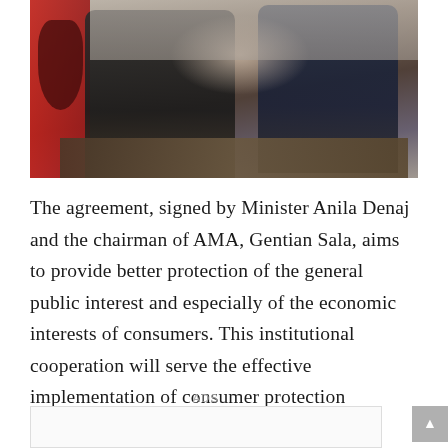[Figure (photo): Two men shaking hands at a signing ceremony. An Albanian flag is visible on the left. They are standing at a conference table with microphones. Both are wearing dark suits.]
The agreement, signed by Minister Anila Denaj and the chairman of AMA, Gentian Sala, aims to provide better protection of the general public interest and especially of the economic interests of consumers. This institutional cooperation will serve the effective implementation of consumer protection legislation, in the commercial practices of providing services by audiovisual media operators, through the observance of the obligations provided for by the applicable legislation.
ADS